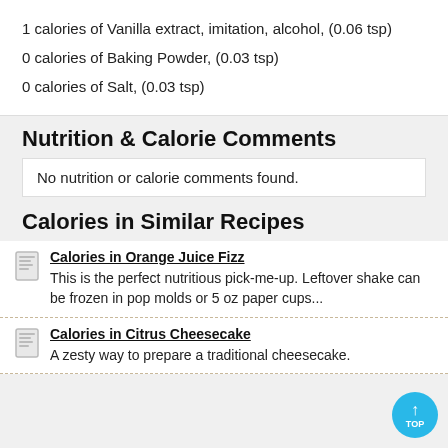1 calories of Vanilla extract, imitation, alcohol, (0.06 tsp)
0 calories of Baking Powder, (0.03 tsp)
0 calories of Salt, (0.03 tsp)
Nutrition & Calorie Comments
No nutrition or calorie comments found.
Calories in Similar Recipes
Calories in Orange Juice Fizz
This is the perfect nutritious pick-me-up. Leftover shake can be frozen in pop molds or 5 oz paper cups...
Calories in Citrus Cheesecake
A zesty way to prepare a traditional cheesecake.